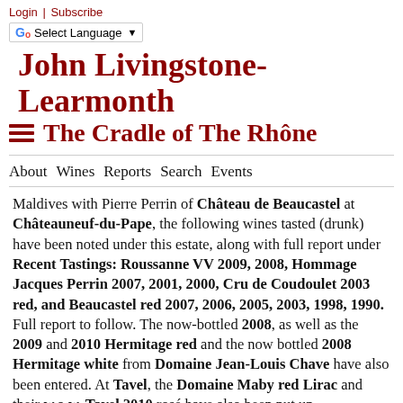Login | Subscribe
G Select Language ▼
John Livingstone-Learmouth
≡   The Cradle of The Rhône
About  Wines  Reports  Search  Events
Maldives with Pierre Perrin of Château de Beaucastel at Châteauneuf-du-Pape, the following wines tasted (drunk) have been noted under this estate, along with full report under Recent Tastings: Roussanne VV 2009, 2008, Hommage Jacques Perrin 2007, 2001, 2000, Cru de Coudoulet 2003 red, and Beaucastel red 2007, 2006, 2005, 2003, 1998, 1990. Full report to follow. The now-bottled 2008, as well as the 2009 and 2010 Hermitage red and the now bottled 2008 Hermitage white from Domaine Jean-Louis Chave have also been entered. At Tavel, the Domaine Maby red Lirac and their w.o.w. Tavel 2010 rosé have also been put up.